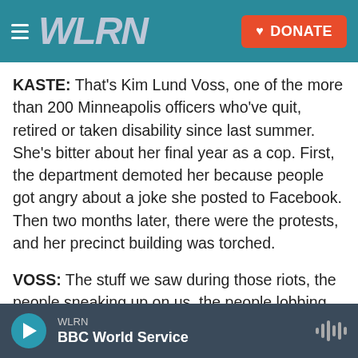WLRN — DONATE
KASTE: That's Kim Lund Voss, one of the more than 200 Minneapolis officers who've quit, retired or taken disability since last summer. She's bitter about her final year as a cop. First, the department demoted her because people got angry about a joke she posted to Facebook. Then two months later, there were the protests, and her precinct building was torched.
VOSS: The stuff we saw during those riots, the people sneaking up on us, the people lobbing stuff at us, shooting stuff at us, that was a war.
WLRN — BBC World Service